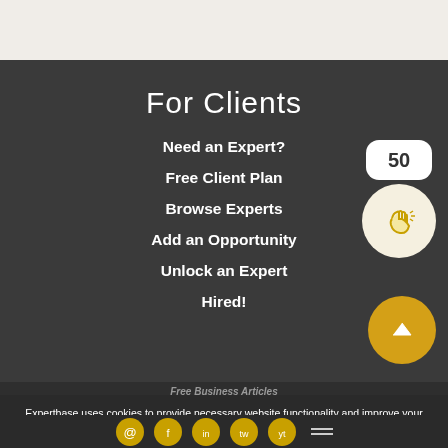For Clients
Need an Expert?
Free Client Plan
Browse Experts
Add an Opportunity
Unlock an Expert
Hired!
[Figure (screenshot): Badge showing 50]
[Figure (illustration): Clapping hands icon in circle]
[Figure (illustration): Upward arrow in gold circle]
Free Business Articles
Expertbase uses cookies to provide necessary website functionality and improve your experience. By using our website, you agree to our Privacy Page. I Understand